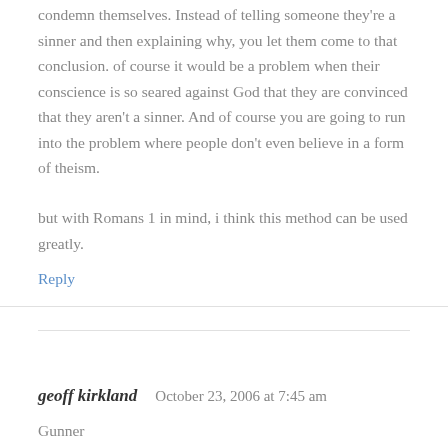condemn themselves. Instead of telling someone they're a sinner and then explaining why, you let them come to that conclusion. of course it would be a problem when their conscience is so seared against God that they are convinced that they aren't a sinner. And of course you are going to run into the problem where people don't even believe in a form of theism.
but with Romans 1 in mind, i think this method can be used greatly.
Reply
geoff kirkland   October 23, 2006 at 7:45 am
Gunner